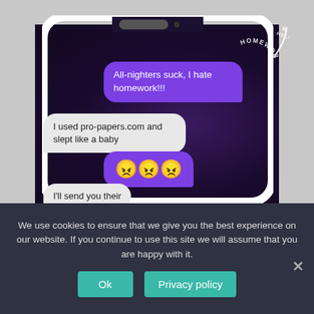[Figure (screenshot): Screenshot of a phone showing a text message conversation. A purple speech bubble on the right says 'All-nighters suck, I hate homework!!!'. A gray/white bubble on the left says 'I used pro-papers.com and slept like a baby'. A purple bubble shows three angry face emojis. A partial gray bubble at bottom says 'I'll send you their'. There is a 'HomeworkHelp' logo arc in the upper right. The background is a dark starfield.]
We use cookies to ensure that we give you the best experience on our website. If you continue to use this site we will assume that you are happy with it.
Ok
Privacy policy